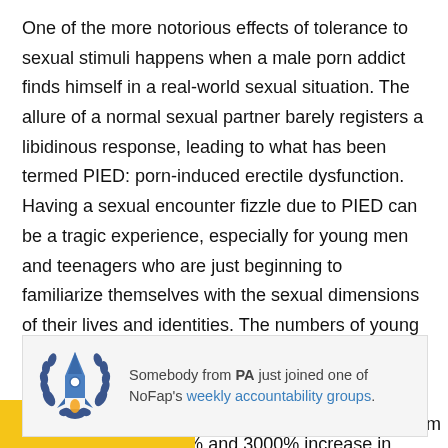One of the more notorious effects of tolerance to sexual stimuli happens when a male porn addict finds himself in a real-world sexual situation. The allure of a normal sexual partner barely registers a libidinous response, leading to what has been termed PIED: porn-induced erectile dysfunction. Having a sexual encounter fizzle due to PIED can be a tragic experience, especially for young men and teenagers who are just beginning to familiarize themselves with the sexual dimensions of their lives and identities. The numbers of young men experiencing erectile dysfunction would have been unthinkable in decades past before the Internet made porn so widely available. Studies show between a 600% and 3000% increase in erectile dysfunction among young men since the
[Figure (logo): NoFap logo: blue rocket with laurel wreath emblem]
Somebody from PA just joined one of NoFap's weekly accountability groups.
...ects prevalent among reports from porn